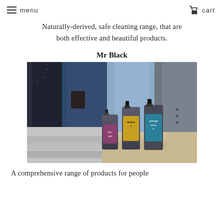menu   cart
Naturally-derived, safe cleaning range, that are both effective and beautiful products.
Mr Black
[Figure (photo): Photo of Mr Black cleaning spray bottle products displayed on a shelf, with hanging clothing (blue jackets, grey suits) and folded grey knitwear in background.]
A comprehensive range of products for people